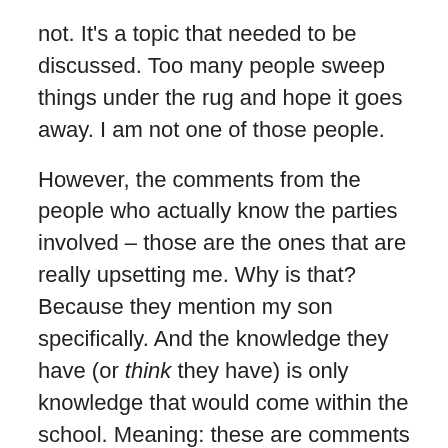not. It's a topic that needed to be discussed. Too many people sweep things under the rug and hope it goes away. I am not one of those people.
However, the comments from the people who actually know the parties involved – those are the ones that are really upsetting me. Why is that? Because they mention my son specifically. And the knowledge they have (or think they have) is only knowledge that would come within the school. Meaning: these are comments from faculty and staff of the high school.  Comments that are BASHING a student.
I have a message for you. I know you used “fake names” and “anonymous” for most of your messages.  But there’s this wee little thing about the WordPress site that you might not be aware of.  When I receive an anonymous